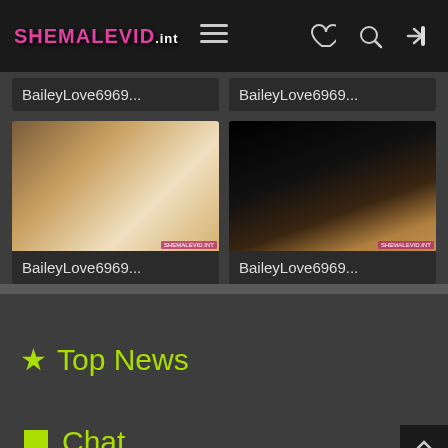SHEMALEVID.int navigation header
BaileyLove6969...
BaileyLove6969...
[Figure (photo): Thumbnail photo 1 - person in white dress on sofa]
BaileyLove6969...
[Figure (photo): Thumbnail photo 2 - person with blonde hair, dark background]
BaileyLove6969...
★ Top News
💬 Chat